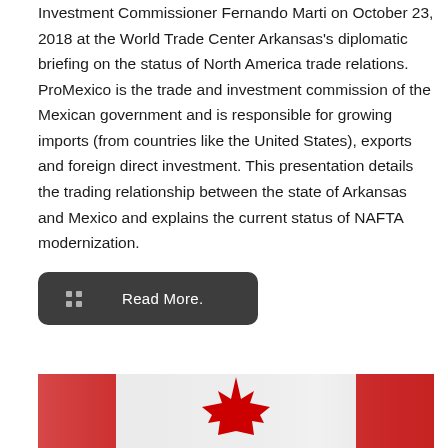Investment Commissioner Fernando Marti on October 23, 2018 at the World Trade Center Arkansas's diplomatic briefing on the status of North America trade relations. ProMexico is the trade and investment commission of the Mexican government and is responsible for growing imports (from countries like the United States), exports and foreign direct investment. This presentation details the trading relationship between the state of Arkansas and Mexico and explains the current status of NAFTA modernization.
[Figure (other): Dark grey rounded button with a grid icon and 'Read More.' text label]
[Figure (photo): Photo of a Canadian flag showing the red maple leaf, partially cropped]